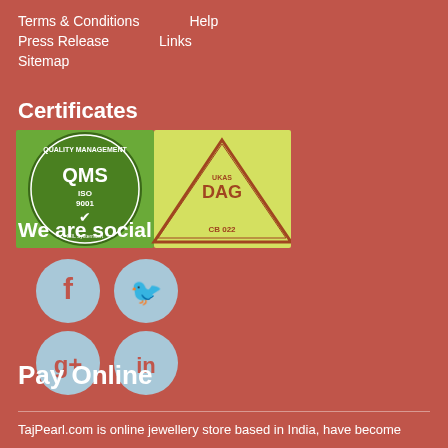Terms & Conditions
Help
Press Release
Links
Sitemap
Certificates
[Figure (logo): QMS ISO 9001 Quality Management System certificate badge and DAG CB 022 triangle certification badge]
We are social
[Figure (infographic): Social media icons: Facebook, Twitter, Google+, LinkedIn circles in light blue]
Pay Online
TajPearl.com is online jewellery store based in India, have become